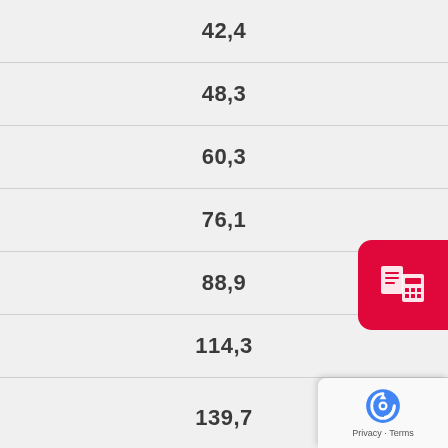| 42,4 |
| 48,3 |
| 60,3 |
| 76,1 |
| 88,9 |
| 114,3 |
| 139,7 |